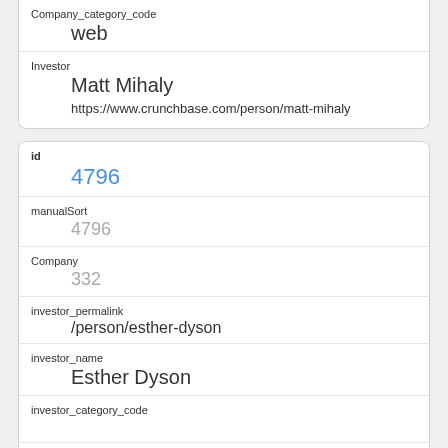| Company_category_code | web |
| Investor | Matt Mihaly
https://www.crunchbase.com/person/matt-mihaly |
| id | 4796 |
| manualSort | 4796 |
| Company | 332 |
| investor_permalink | /person/esther-dyson |
| investor_name | Esther Dyson |
| investor_category_code |  |
| investor_country_code |  |